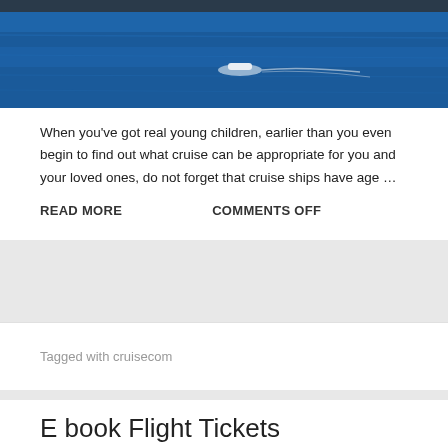[Figure (photo): Aerial view of a boat on blue ocean water near a dock or pier]
When you've got real young children, earlier than you even begin to find out what cruise can be appropriate for you and your loved ones, do not forget that cruise ships have age …
READ MORE   COMMENTS OFF
Tagged with cruisecom
E book Flight Tickets
Posted on June 29, 2019 by meymey in cheap plane tickets